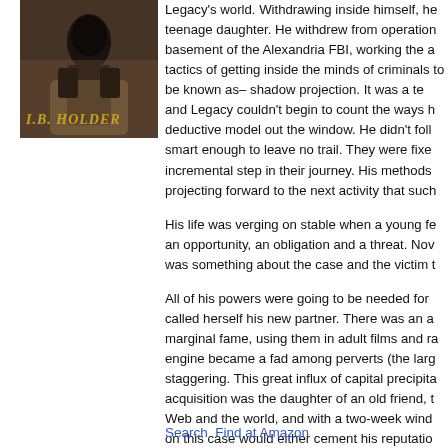[Figure (photo): Book cover showing 'I.B. Holder' text over a dark image with a figure in the background]
Legacy's world. Withdrawing inside himself, he teenage daughter. He withdrew from operation basement of the Alexandria FBI, working the a tactics of getting inside the minds of criminals to be known as– shadow projection. It was a te and Legacy couldn't begin to count the ways h deductive model out the window. He didn't foll smart enough to leave no trail. They were fixe incremental step in their journey. His methods projecting forward to the next activity that such
His life was verging on stable when a young fe an opportunity, an obligation and a threat. Nov was something about the case and the victim t
All of his powers were going to be needed for called herself his new partner. There was an a marginal fame, using them in adult films and ra engine became a fad among perverts (the larg staggering. This great influx of capital precipita acquisition was the daughter of an old friend, t Web and the world, and with a two-week wind on this case would either cement his reputatio announce his reinstatement as borderline hero couldn't actually say which outcome he feared
Search  Find at Amazon